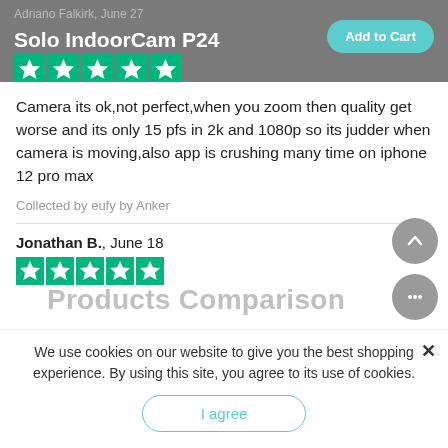Solo IndoorCam P24 | Add to Cart
Adriano Falkirk, June 27
[Figure (other): Five green Trustpilot star rating icons]
Camera its ok,not perfect,when you zoom then quality get worse and its only 15 pfs in 2k and 1080p so its judder when camera is moving,also app is crushing many time on iphone 12 pro max
Collected by eufy by Anker
Jonathan B., June 18
[Figure (other): Five green Trustpilot star rating icons]
Products Comparison
We use cookies on our website to give you the best shopping experience. By using this site, you agree to its use of cookies.
I agree